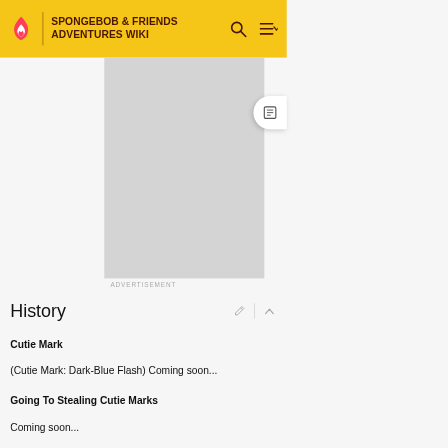SPONGEBOB & FRIENDS ADVENTURES WIKI
[Figure (other): Advertisement placeholder gray rectangle]
ADVERTISEMENT
History
Cutie Mark
(Cutie Mark: Dark-Blue Flash) Coming soon...
Going To Stealing Cutie Marks
Coming soon...